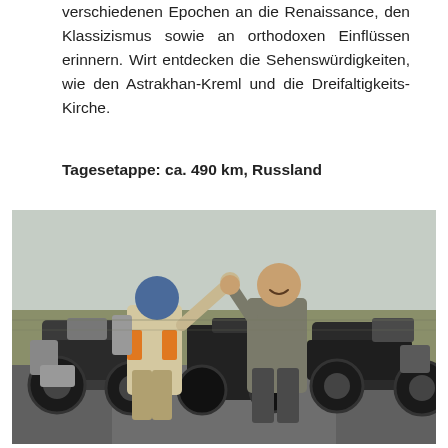verschiedenen Epochen an die Renaissance, den Klassizismus sowie an orthodoxen Einflüssen erinnern. Wirt entdecken die Sehenswürdigkeiten, wie den Astrakhan-Kreml und die Dreifaltigkeits-Kirche.
Tagesetappe: ca. 490 km, Russland
[Figure (photo): Two motorcyclists standing in front of adventure motorcycles on a open steppe road, one raising his fist in celebration. Both wearing riding gear. Grey overcast sky and flat landscape in background.]